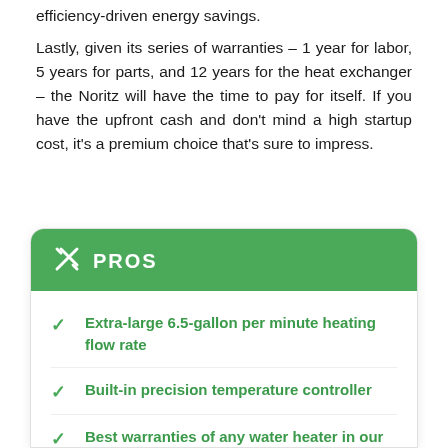efficiency-driven energy savings.
Lastly, given its series of warranties – 1 year for labor, 5 years for parts, and 12 years for the heat exchanger – the Noritz will have the time to pay for itself. If you have the upfront cash and don't mind a high startup cost, it's a premium choice that's sure to impress.
PROS
Extra-large 6.5-gallon per minute heating flow rate
Built-in precision temperature controller
Best warranties of any water heater in our review